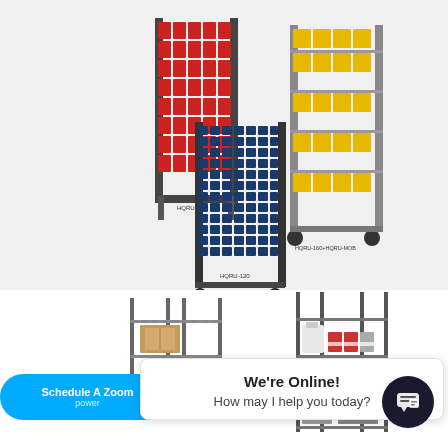[Figure (photo): Three industrial bin rack units: one red single-sided rack labeled HQRU-125, one navy blue double-sided rack labeled HQRU-120, and one yellow rack on wheels labeled HQRU-160+HQRU-MOB.]
[Figure (photo): Wire shelving units stocked with cardboard boxes and cleaning supplies. NSF badge visible in top right corner.]
We're Online! How may I help you today?
Schedule A Zoom power